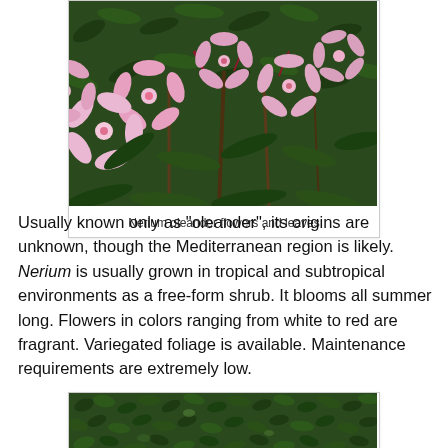[Figure (photo): Photograph of Nerium oleander pink flowers and green leaves, shot from close up showing multiple blossoms.]
Nerium oleander flowers and leaves
Usually known only as "oleander", its origins are unknown, though the Mediterranean region is likely. Nerium is usually grown in tropical and subtropical environments as a free-form shrub. It blooms all summer long. Flowers in colors ranging from white to red are fragrant. Variegated foliage is available. Maintenance requirements are extremely low.
[Figure (photo): Photograph of dense dark green foliage, appearing to be a shrub or ground cover with small rounded leaves.]